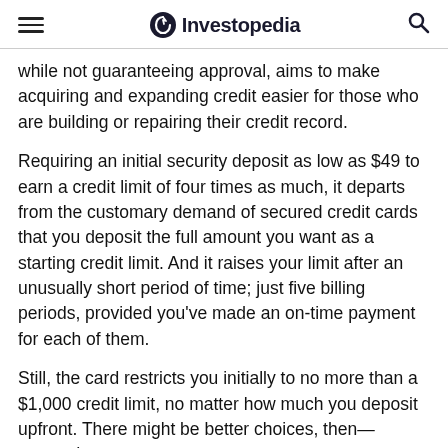Investopedia
while not guaranteeing approval, aims to make acquiring and expanding credit easier for those who are building or repairing their credit record.
Requiring an initial security deposit as low as $49 to earn a credit limit of four times as much, it departs from the customary demand of secured credit cards that you deposit the full amount you want as a starting credit limit. And it raises your limit after an unusually short period of time; just five billing periods, provided you've made an on-time payment for each of them.
Still, the card restricts you initially to no more than a $1,000 credit limit, no matter how much you deposit upfront. There might be better choices, then—secured